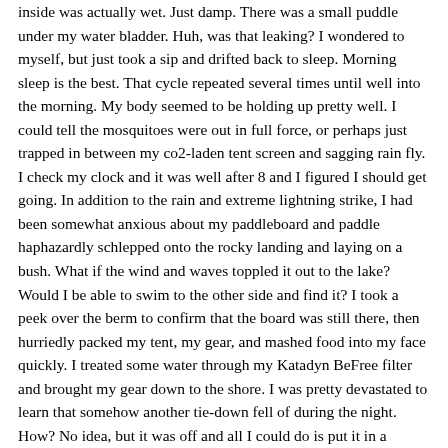inside was actually wet. Just damp. There was a small puddle under my water bladder. Huh, was that leaking? I wondered to myself, but just took a sip and drifted back to sleep. Morning sleep is the best. That cycle repeated several times until well into the morning. My body seemed to be holding up pretty well. I could tell the mosquitoes were out in full force, or perhaps just trapped in between my co2-laden tent screen and sagging rain fly. I check my clock and it was well after 8 and I figured I should get going. In addition to the rain and extreme lightning strike, I had been somewhat anxious about my paddleboard and paddle haphazardly schlepped onto the rocky landing and laying on a bush. What if the wind and waves toppled it out to the lake? Would I be able to swim to the other side and find it? I took a peek over the berm to confirm that the board was still there, then hurriedly packed my tent, my gear, and mashed food into my face quickly. I treated some water through my Katadyn BeFree filter and brought my gear down to the shore. I was pretty devastated to learn that somehow another tie-down fell of during the night. How? No idea, but it was off and all I could do is put it in a pocket and find a way to secure my gear. It seemed secure enough by wrapping the bungee around the back of my pack. As long as it crossed in an X shape over the front of my back, I'd be good, I figured. I also clasped everything together and onto my board so at least if there was a catastrophic loss of gear, in